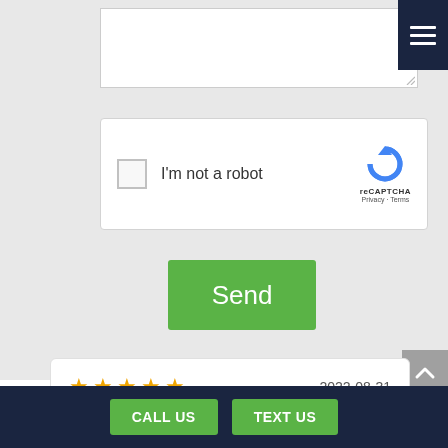[Figure (screenshot): A web contact form area with a textarea input box, a reCAPTCHA widget with checkbox and logo, and a green Send button. A dark navy hamburger menu icon appears in the top right corner.]
[Figure (screenshot): Gray scroll-to-top button with an upward chevron arrow on the right side.]
[Figure (screenshot): A white review card showing 5 gold stars and the date 2022-08-31.]
[Figure (screenshot): Dark navy footer bar with two green buttons labeled CALL US and TEXT US.]